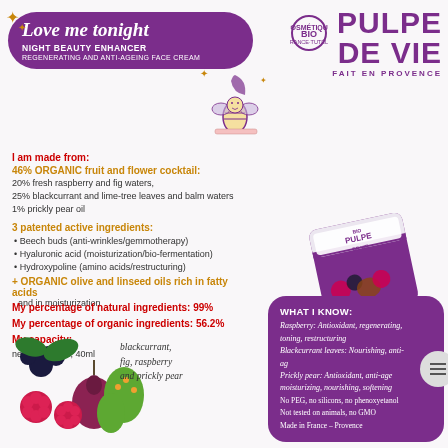Love me tonight NIGHT BEAUTY ENHANCER REGENERATING AND ANTI-AGEING FACE CREAM
[Figure (logo): Pulpe de Vie brand logo with Bio certification badge, text: PULPE DE VIE FAIT EN PROVENCE]
[Figure (illustration): Cartoon bee fairy illustration with stars]
I am made from:
46% ORGANIC fruit and flower cocktail:
20% fresh raspberry and fig waters,
25% blackcurrant and lime-tree leaves and balm waters
1% prickly pear oil
3 patented active ingredients:
Beech buds (anti-wrinkles/gemmotherapy)
Hyaluronic acid (moisturization/bio-fermentation)
Hydroxypoline (amino acids/restructuring)
+ ORGANIC olive and linseed oils rich in fatty acids and in moisturization
My percentage of natural ingredients: 99%
My percentage of organic ingredients: 56.2%
My capacity:
net wt. 1.35 oz, 40ml
[Figure (photo): Product jar of Pulpe de Vie Love me tonight night cream]
[Figure (photo): Blackcurrant, fig, raspberry and prickly pear fruits photo]
blackcurrant, fig, raspberry and prickly pear
WHAT I KNOW:
Raspberry: Antioxidant, regenerating, toning, restructuring
Blackcurrant leaves: Nourishing, anti-ageing
Prickly pear: Antioxidant, anti-ageing, moisturizing, nourishing, softening
No PEG, no silicons, no phenoxyetanol
Not tested on animals, no GMO
Made in France – Provence